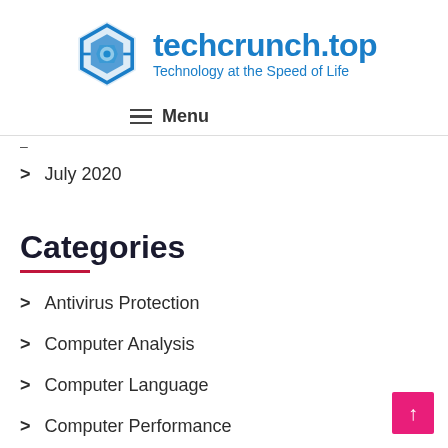[Figure (logo): techcrunch.top logo with hexagonal gear icon in blue and text 'techcrunch.top / Technology at the Speed of Life']
≡ Menu
July 2020
Categories
Antivirus Protection
Computer Analysis
Computer Language
Computer Performance